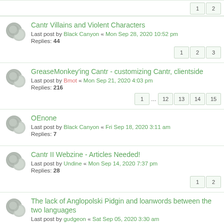Cantr Villains and Violent Characters
Last post by Black Canyon « Mon Sep 28, 2020 10:52 pm
Replies: 44
GreaseMonkey'ing Cantr - customizing Cantr, clientside
Last post by Bmot « Mon Sep 21, 2020 4:03 pm
Replies: 216
OEnone
Last post by Black Canyon « Fri Sep 18, 2020 3:11 am
Replies: 7
Cantr II Webzine - Articles Needed!
Last post by Undine « Mon Sep 14, 2020 7:37 pm
Replies: 28
The lack of Anglopolski Pidgin and loanwords between the two languages
Last post by gudgeon « Sat Sep 05, 2020 3:30 am
Replies: 20
Proposed Combat Changes 2019
Last post by alecto « Fri Aug 28, 2020 8:25 am
Replies: 19
Cantr theories